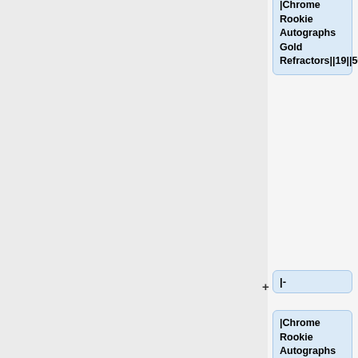|Chrome Rookie Autographs Gold Refractors||19||50||1:7787||N/A||1:1295||N/A
|-
|Chrome Rookie Autographs Orange Refractors||19||25||1:15,518||N/A||N/A||N/A
|-
|Chrome Rookie Autographs